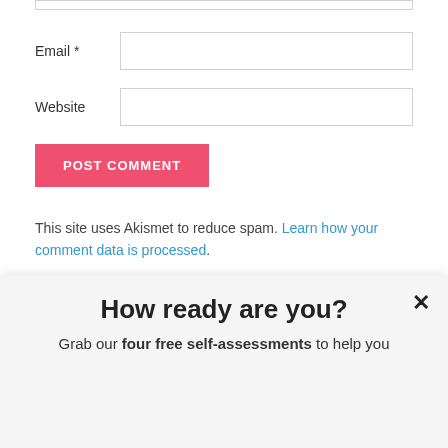Email *
Website
POST COMMENT
This site uses Akismet to reduce spam. Learn how your comment data is processed.
- OUR PASSIONATE VISION -
How ready are you?
Grab our four free self-assessments to help you